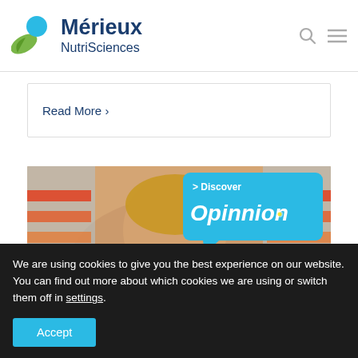[Figure (logo): Mérieux NutriSciences logo with blue circle and green leaf icon, dark blue text]
Read More >
[Figure (photo): Young boy looking at products on a store shelf with colorful orange and red bottles. Overlay speech bubble reads '> Discover Opinnion' in sky blue.]
We are using cookies to give you the best experience on our website.
You can find out more about which cookies we are using or switch them off in settings.
Accept